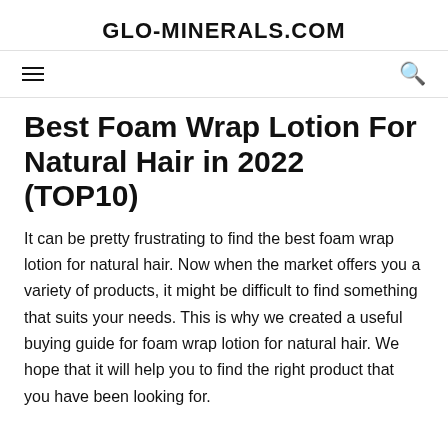GLO-MINERALS.COM
Best Foam Wrap Lotion For Natural Hair in 2022 (TOP10)
It can be pretty frustrating to find the best foam wrap lotion for natural hair. Now when the market offers you a variety of products, it might be difficult to find something that suits your needs. This is why we created a useful buying guide for foam wrap lotion for natural hair. We hope that it will help you to find the right product that you have been looking for.